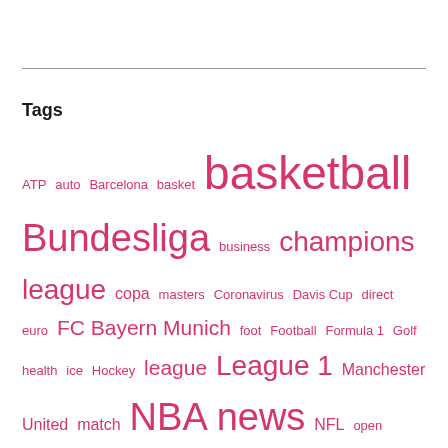Tags
ATP auto Barcelona basket basketball Bundesliga business champions league copa masters Coronavirus Davis Cup direct euro FC Bayern Munich foot Football Formula 1 Golf health ice Hockey league League 1 Manchester United match NBA news NFL open australia politics Premier League psg ranking Real Madrid results roland garros Soccer Southgerman newspaper Sport Sports tennis tournaments